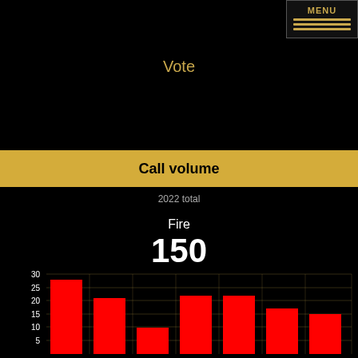Vote
Call volume
2022 total
Fire
150
[Figure (bar-chart): Fire call volume by month]